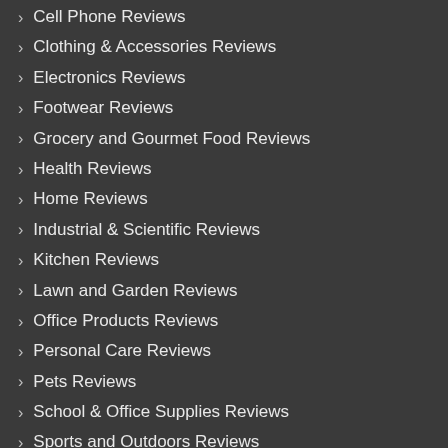Cell Phone Reviews
Clothing & Accessories Reviews
Electronics Reviews
Footwear Reviews
Grocery and Gourmet Food Reviews
Health Reviews
Home Reviews
Industrial & Scientific Reviews
Kitchen Reviews
Lawn and Garden Reviews
Office Products Reviews
Personal Care Reviews
Pets Reviews
School & Office Supplies Reviews
Sports and Outdoors Reviews
Toys and Games Reviews
Women Reviews